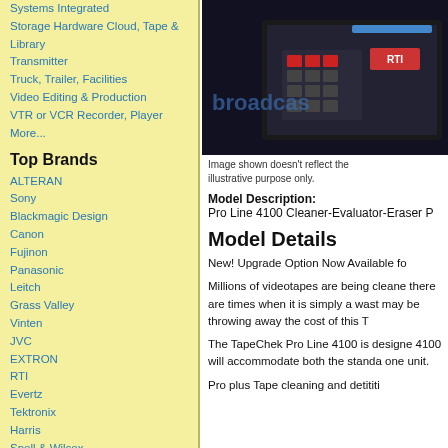Systems Integrated
Storage Hardware Cloud, Tape & Library
Transmitter
Truck, Trailer, Facilities
Video Editing & Production
VTR or VCR Recorder, Player
More...
Top Brands
ALTERAN
Sony
Blackmagic Design
Canon
Fujinon
Panasonic
Leitch
Grass Valley
Vinten
JVC
EXTRON
RTI
Evertz
Tektronix
Harris
Snell & Wilcox
Sencore
More»
Top Models
3/4 U Matic VTR Editor
[Figure (photo): Product image of RTI broadcast equipment on dark background with 'broadcast' text partially visible]
Image shown doesn't reflect the illustrative purpose only.
Model Description: Pro Line 4100 Cleaner-Evaluator-Eraser P
Model Details
New! Upgrade Option Now Available fo
Millions of videotapes are being cleaned there are times when it is simply a wast may be throwing away the cost of this T
The TapeChek Pro Line 4100 is designe 4100 will accommodate both the standa one unit.
Pro plus Tape cleaning and detititi